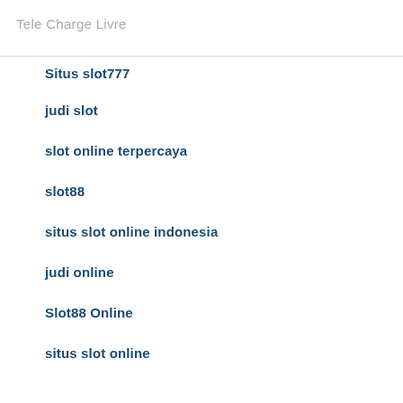Tele Charge Livre
Situs slot777
judi slot
slot online terpercaya
slot88
situs slot online indonesia
judi online
Slot88 Online
situs slot online